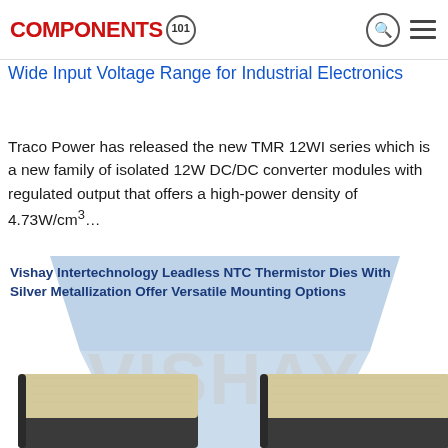COMPONENTS 101
Wide Input Voltage Range for Industrial Electronics
Traco Power has released the new TMR 12WI series which is a new family of isolated 12W DC/DC converter modules with regulated output that offers a high-power density of 4.73W/cm³…
[Figure (photo): Vishay Intertechnology product card showing two leadless NTC thermistor dies with silver metallization on a blue geometric background with VISHAY watermark logo]
Vishay Intertechnology Leadless NTC Thermistor Dies With Silver Metallization Offer Versatile Mounting Options